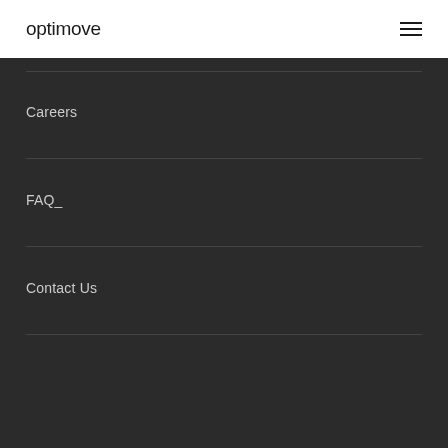optimove
Careers
FAQ
Contact Us